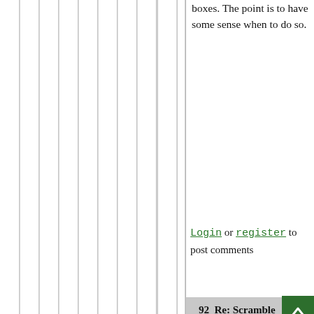[Figure (illustration): Left portion of page showing vertical gray stripes/lines on white background]
boxes. The point is to have some sense when to do so.
Login or register to post comments
92  Re: Scramble for the Ball: 2015 in Review
[Figure (other): Dark green back-to-top button with upward arrow chevron]
by
Grendel13G
// Feb 10, 2016 -